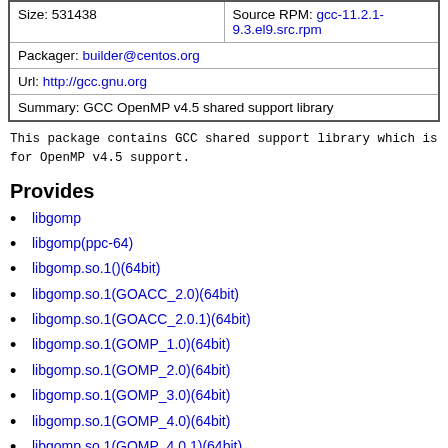| Size: 531438 | Source RPM: gcc-11.2.1-9.3.el9.src.rpm |
| Packager: builder@centos.org |
| Url: http://gcc.gnu.org |
| Summary: GCC OpenMP v4.5 shared support library |
This package contains GCC shared support library which is for OpenMP v4.5 support.
Provides
libgomp
libgomp(ppc-64)
libgomp.so.1()(64bit)
libgomp.so.1(GOACC_2.0)(64bit)
libgomp.so.1(GOACC_2.0.1)(64bit)
libgomp.so.1(GOMP_1.0)(64bit)
libgomp.so.1(GOMP_2.0)(64bit)
libgomp.so.1(GOMP_3.0)(64bit)
libgomp.so.1(GOMP_4.0)(64bit)
libgomp.so.1(GOMP_4.0.1)(64bit)
libgomp.so.1(GOMP_4.5)(64bit)
libgomp.so.1(GOMP_5.0)(64bit)